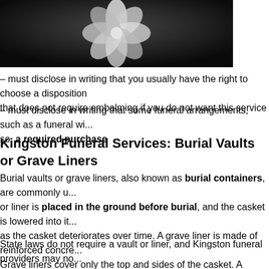[Figure (photo): Black and white photograph showing what appears to be a flower or floral arrangement against a dark background, cropped at the top of the page]
– must disclose in writing that you usually have the right to choose a disposition that does not require embalming if you do not want this service
– must disclose in writing that some funeral arrangements, such as a funeral wi... so, a required purchase
Kingston Funeral Services: Burial Vaults or Grave Liners
Burial vaults or grave liners, also known as burial containers, are commonly u... or liner is placed in the ground before burial, and the casket is lowered into it as the casket deteriorates over time. A grave liner is made of reinforced concre... Grave liners cover only the top and sides of the casket. A burial vault is more s... casket in concrete or another material and may be sold with a warranty of prote...
State laws do not require a vault or liner, and Kingston funeral providers may no... cemeteries in Kingston require some type of outer burial container to prevent t... burial vaults are designed to prevent the eventual decomposition of human re... keep water, dirt or other debris from penetrating into the casket if that's not tru...